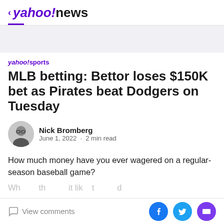< yahoo!news
[Figure (other): Gray advertisement banner placeholder area]
yahoo!sports
MLB betting: Bettor loses $150K bet as Pirates beat Dodgers on Tuesday
Nick Bromberg
June 1, 2022 · 2 min read
How much money have you ever wagered on a regular-season baseball game?
View comments